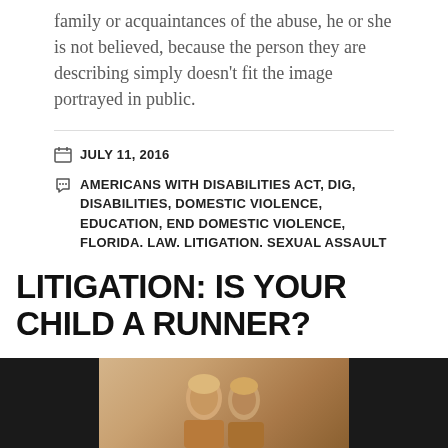family or acquaintances of the abuse, he or she is not believed, because the person they are describing simply doesn't fit the image portrayed in public.
JULY 11, 2016
AMERICANS WITH DISABILITIES ACT, DIG, DISABILITIES, DOMESTIC VIOLENCE, EDUCATION, END DOMESTIC VIOLENCE, FLORIDA, LAW, LITIGATION, SEXUAL ASSAULT
LEAVE A COMMENT
LITIGATION: IS YOUR CHILD A RUNNER?
[Figure (photo): Photo of two women sitting together, dark background on sides with centered image]